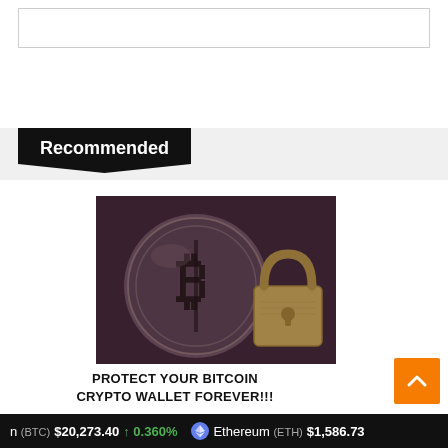[Figure (other): White rectangular box at top of page, likely an advertisement or image placeholder]
Recommended
[Figure (photo): Bitcoin coin with a gold padlock resting on it, set against a dark purple-brown background — promoting crypto wallet security]
PROTECT YOUR BITCOIN CRYPTO WALLET FOREVER!!!
n (BTC) $20,273.40 ↑ 0.360% Ethereum (ETH) $1,586.73